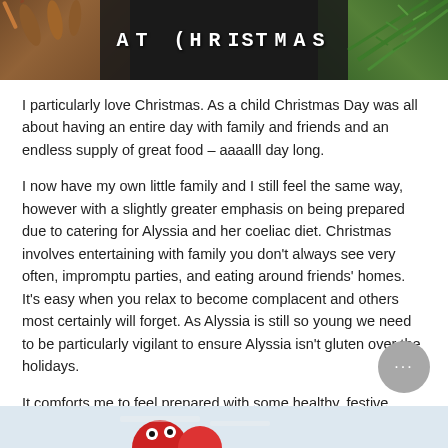[Figure (photo): Dark chalkboard background with wooden spoons on the left and green pine/fir branches on the right. White text reads 'AT CHRISTMAS' in bold uppercase letters.]
I particularly love Christmas. As a child Christmas Day was all about having an entire day with family and friends and an endless supply of great food – aaaalll day long.
I now have my own little family and I still feel the same way, however with a slightly greater emphasis on being prepared due to catering for Alyssia and her coeliac diet. Christmas involves entertaining with family you don't always see very often, impromptu parties, and eating around friends' homes. It's easy when you relax to become complacent and others most certainly will forget. As Alyssia is still so young we need to be particularly vigilant to ensure Alyssia isn't gluten over the holidays.
It comforts me to feel prepared with some healthy, festive treats. Here are a few fun, simple, no-fuss ideas th… and and used last year.
[Figure (photo): Partial view of festive food items at the bottom of the page, appears to show Christmas-themed treats with red and white decorations.]